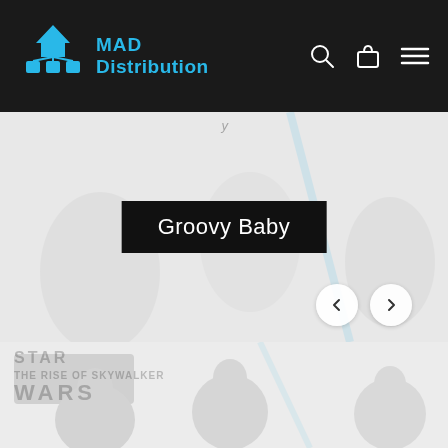MAD Distribution
[Figure (screenshot): MAD Distribution website header with logo (blue text and network/boxes icon), navigation icons (search, cart, menu) on dark background]
Groovy Baby
[Figure (photo): Star Wars themed promotional banner showing characters including Kylo Ren and other Star Wars figures with the Star Wars logo, faded/watermarked style on light background]